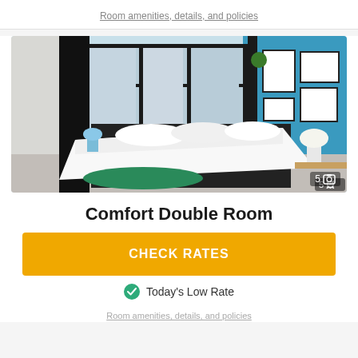Room amenities, details, and policies
[Figure (photo): Hotel comfort double room with large bed featuring white bedding, teal/blue accent wall with framed artwork, floor-to-ceiling windows with black curtains, green rug, and a white lamp on a bedside table. Photo count indicator shows 5 images.]
Comfort Double Room
CHECK RATES
Today's Low Rate
Room amenities, details, and policies